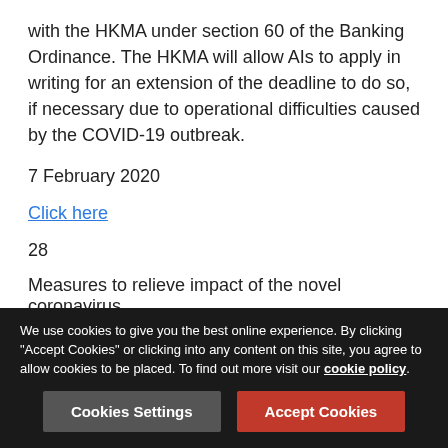with the HKMA under section 60 of the Banking Ordinance. The HKMA will allow AIs to apply in writing for an extension of the deadline to do so, if necessary due to operational difficulties caused by the COVID-19 outbreak.
7 February 2020
Click here
28
Measures to relieve impact of the novel coronavirus
The HKMA published a circular outlining measures that authorized institutions (AI) should implement to relieve the impact of COVID-19 on their customers. The measures include temporary relief measures to lessen the impact of financial stress, such as principal moratorium for residential
We use cookies to give you the best online experience. By clicking "Accept Cookies" or clicking into any content on this site, you agree to allow cookies to be placed. To find out more visit our cookie policy.
Cookies Settings
Accept Cookies